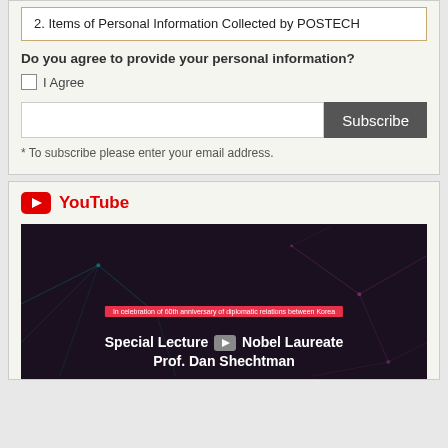2. Items of Personal Information Collected by POSTECH
Do you agree to provide your personal information?
I Agree
Subscribe
* To subscribe please enter your email address.
YouTube
[Figure (screenshot): YouTube video thumbnail showing 'Special Lecture Nobel Laureate Prof. Dan Shechtman' with text 'In celebration of 60th anniversary of diplomatic relations between Korea' on a dark background with network pattern graphics.]